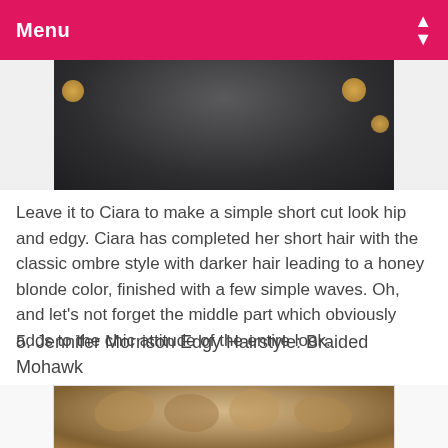Menu
[Figure (photo): Partial view of a woman in a dark jacket with gold buttons, short hair visible at top of image]
Leave it to Ciara to make a simple short cut look hip and edgy. Ciara has completed her short hair with the classic ombre style with darker hair leading to a honey blonde color, finished with a few simple waves. Oh, and let's not forget the middle part which obviously adds to the chic attitude of the entire look.
5. Jennifer Morrison Edgy Hairstyle: Braided Mohawk
[Figure (photo): Close-up photo of a braided Mohawk hairstyle with textured, twisted braids in a honey blonde/brown color]